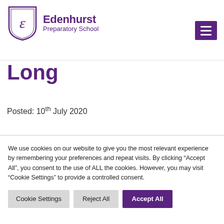[Figure (logo): Edenhurst Preparatory School logo with shield crest and purple text]
Long
Posted: 10th July 2020
We use cookies on our website to give you the most relevant experience by remembering your preferences and repeat visits. By clicking “Accept All”, you consent to the use of ALL the cookies. However, you may visit "Cookie Settings" to provide a controlled consent.